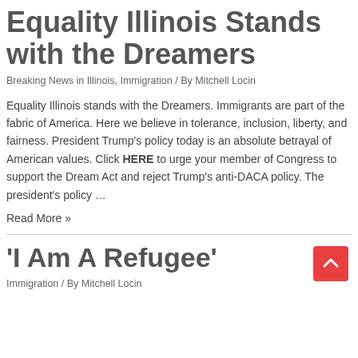Equality Illinois Stands with the Dreamers
Breaking News in Illinois, Immigration / By Mitchell Locin
Equality Illinois stands with the Dreamers. Immigrants are part of the fabric of America. Here we believe in tolerance, inclusion, liberty, and fairness. President Trump’s policy today is an absolute betrayal of American values. Click HERE to urge your member of Congress to support the Dream Act and reject Trump’s anti-DACA policy. The president’s policy …
Read More »
‘I Am A Refugee’
Immigration / By Mitchell Locin